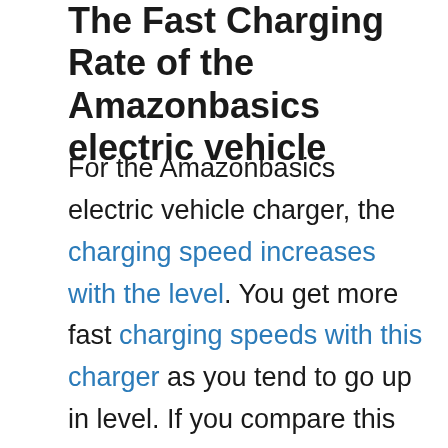The Fast Charging Rate of the Amazonbasics electric vehicle
For the Amazonbasics electric vehicle charger, the charging speed increases with the level. You get more fast charging speeds with this charger as you tend to go up in level. If you compare this 240 volt level 2 charger to the charging rate of the level 1 charger, it tends to charge at a faster rate. On the average, this Amazonbasics electric vehicle charger...